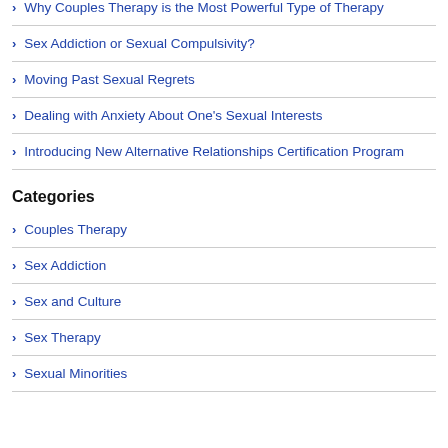Why Couples Therapy is the Most Powerful Type of Therapy
Sex Addiction or Sexual Compulsivity?
Moving Past Sexual Regrets
Dealing with Anxiety About One’s Sexual Interests
Introducing New Alternative Relationships Certification Program
Categories
Couples Therapy
Sex Addiction
Sex and Culture
Sex Therapy
Sexual Minorities